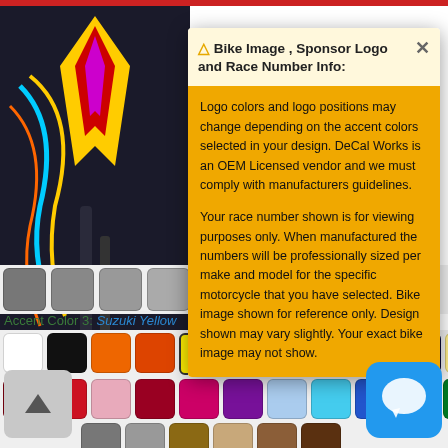[Figure (photo): Partial motorcycle image with colorful decal graphics visible on the left side, dark background]
⚠ Bike Image , Sponsor Logo and Race Number Info:
Logo colors and logo positions may change depending on the accent colors selected in your design. DeCal Works is an OEM Licensed vendor and we must comply with manufacturers guidelines.
Your race number shown is for viewing purposes only. When manufactured the numbers will be professionally sized per make and model for the specific motorcycle that you have selected. Bike image shown for reference only. Design shown may vary slightly. Your exact bike image may not show.
Accent Color 3: Suzuki Yellow